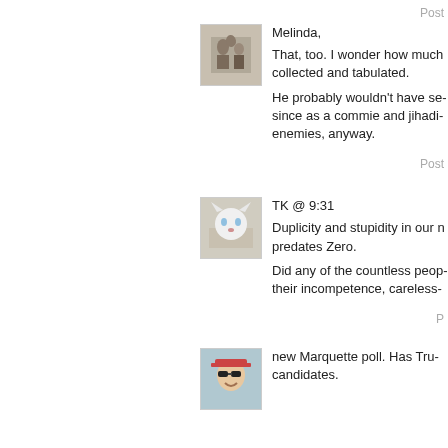Post
[Figure (photo): Avatar photo showing two children with an adult, black and white vintage photo]
Melinda,

That, too. I wonder how much collected and tabulated.

He probably wouldn't have se- since as a commie and jihadi- enemies, anyway.
Post
[Figure (photo): Avatar photo of a white cat sitting on a wooden floor]
TK @ 9:31

Duplicity and stupidity in our predates Zero.

Did any of the countless peo- their incompetence, careless-
P
[Figure (photo): Avatar photo of a person wearing sunglasses]
new Marquette poll. Has Tru- candidates.